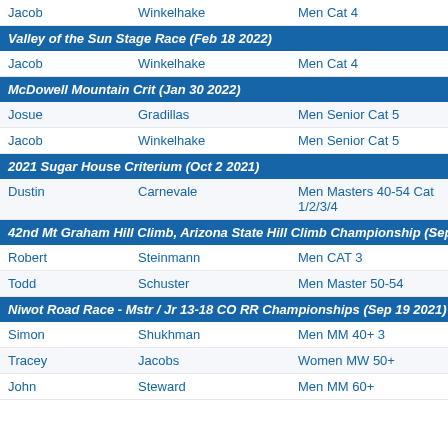| First | Last | Category |
| --- | --- | --- |
| Jacob | Winkelhake | Men Cat 4 |
Valley of the Sun Stage Race (Feb 18 2022)
| First | Last | Category |
| --- | --- | --- |
| Jacob | Winkelhake | Men Cat 4 |
McDowell Mountain Crit (Jan 30 2022)
| First | Last | Category |
| --- | --- | --- |
| Josue | Gradillas | Men Senior Cat 5 |
| Jacob | Winkelhake | Men Senior Cat 5 |
2021 Sugar House Criterium (Oct 2 2021)
| First | Last | Category |
| --- | --- | --- |
| Dustin | Carnevale | Men Masters 40-54 Cat 1/2/3/4 |
42nd Mt Graham Hill Climb, Arizona State Hill Climb Championship (Sep 26 20…
| First | Last | Category |
| --- | --- | --- |
| Robert | Steinmann | Men CAT 3 |
| Todd | Schuster | Men Master 50-54 |
Niwot Road Race - Mstr / Jr 13-18 CO RR Championships (Sep 19 2021)
| First | Last | Category |
| --- | --- | --- |
| Simon | Shukhman | Men MM 40+ 3 |
| Tracey | Jacobs | Women MW 50+ |
| John | Steward | Men MM 60+ |